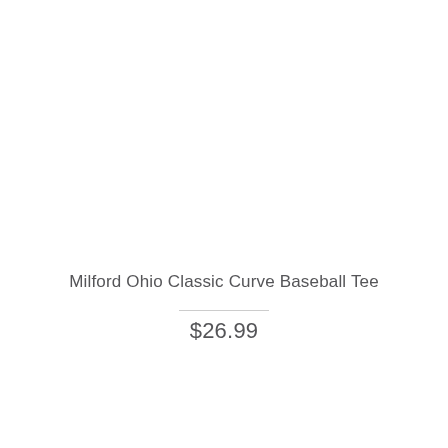Milford Ohio Classic Curve Baseball Tee
$26.99